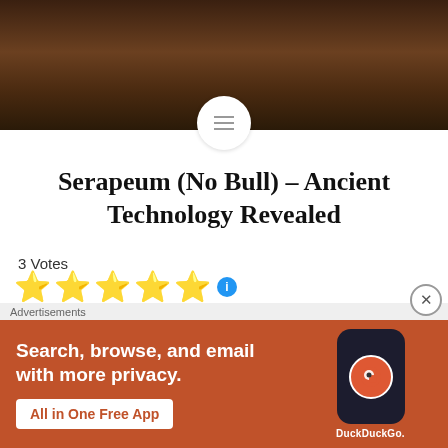[Figure (photo): Partial view of a person's face from chin/neck area, dark background, website header photo]
Serapeum (No Bull) – Ancient Technology Revealed
3 Votes
★★★★★ (5 stars rating with info icon)
Serapeum at Saqqara In my previous blog I mentioned the Unfinished Obelisk and the curious ancient marks in the red granite at Aswan Quarry. The red stone transported to many places became amazing artifacts in Egypt, some
[Figure (screenshot): DuckDuckGo advertisement banner with orange background. Text: Search, browse, and email with more privacy. All in One Free App. Shows DuckDuckGo logo and phone mockup.]